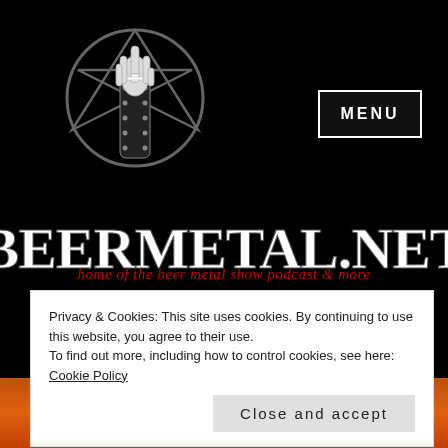[Figure (logo): Pentagram with hand holding beer/cross symbol — site logo for beermetal.net]
MENU
BEERMETAL.NET
home of the beer metal show podcast & more
Privacy & Cookies: This site uses cookies. By continuing to use this website, you agree to their use.
To find out more, including how to control cookies, see here: Cookie Policy
Close and accept